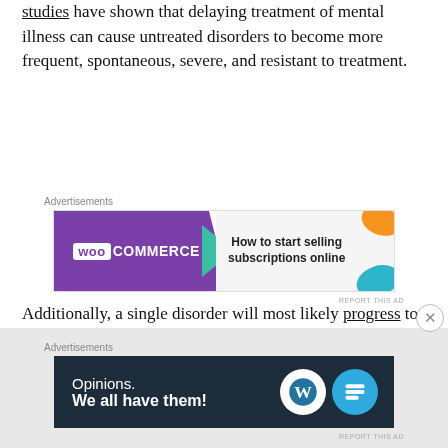studies have shown that delaying treatment of mental illness can cause untreated disorders to become more frequent, spontaneous, severe, and resistant to treatment.
[Figure (other): WooCommerce advertisement banner: 'How to start selling subscriptions online']
Additionally, a single disorder will most likely progress to more complex comorbid disorders that are harder to treat. You will most likely begin to experience chronic physical problems such as insomnia, gastrointestinal issues, and even chemical changes to your brain and other organs.
[Figure (other): WordPress advertisement banner: 'Opinions. We all have them!']